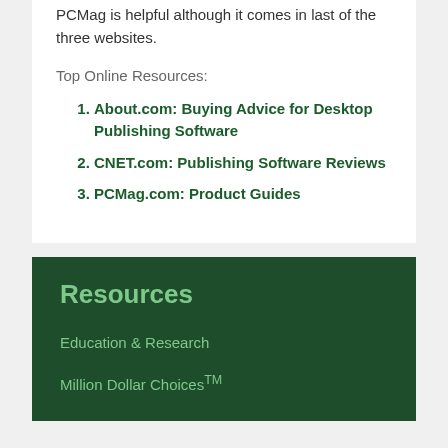PCMag is helpful although it comes in last of the three websites.
Top Online Resources:
About.com: Buying Advice for Desktop Publishing Software
CNET.com: Publishing Software Reviews
PCMag.com: Product Guides
Resources
Education & Research
Million Dollar Choices™